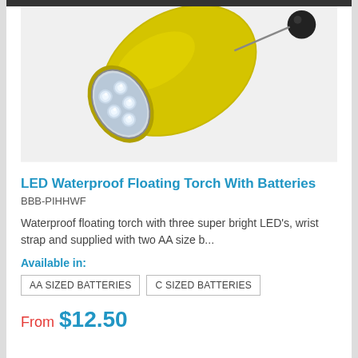[Figure (photo): Yellow LED waterproof floating torch with multiple LED lights visible on the front face, and a black wrist strap connector visible at top right. The torch is angled/diagonal against a light gray background.]
LED Waterproof Floating Torch With Batteries
BBB-PIHHWF
Waterproof floating torch with three super bright LED's, wrist strap and supplied with two AA size b...
Available in:
AA SIZED BATTERIES
C SIZED BATTERIES
From $12.50